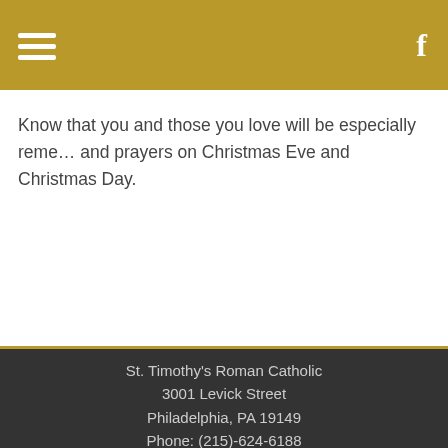Know that you and those you love will be especially remembered in our Masses and prayers on Christmas Eve and Christmas Day.
St. Timothy's Roman Catholic
3001 Levick Street
Philadelphia, PA 19149
Phone: (215)-624-6188
Mass Times & Directions